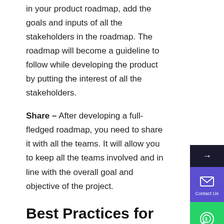in your product roadmap, add the goals and inputs of all the stakeholders in the roadmap. The roadmap will become a guideline to follow while developing the product by putting the interest of all the stakeholders.
Share – After developing a full-fledged roadmap, you need to share it with all the teams. It will allow you to keep all the teams involved and in line with the overall goal and objective of the project.
Best Practices for Product Roadmapping
Why do you need a product roadmap? To keep your project aligned with the goals, the stakeholders to the progress, and the finances well under budget. Making a roadmap also helps in knowing how much you will end up spending and whether it is viable or not. A clear, concise, and thoroughly detailed roadmap